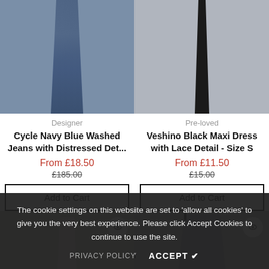[Figure (photo): Blue washed jeans product photo on grey background]
[Figure (photo): Black maxi dress product photo on grey background]
Designer
Pre-loved
Cycle Navy Blue Washed Jeans with Distressed Det...
Veshino Black Maxi Dress with Lace Detail - Size S
From £18.50
From £11.50
£185.00
£15.00
Add to Cart
Add to Cart
[Figure (photo): White clothing item product photo]
[Figure (photo): Grey trousers/skirt product photo]
The cookie settings on this website are set to 'allow all cookies' to give you the very best experience. Please click Accept Cookies to continue to use the site.
PRIVACY POLICY
ACCEPT ✔